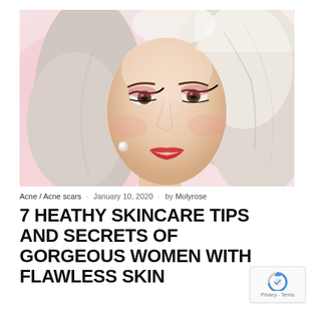[Figure (photo): Close-up portrait of a young woman with platinum blonde wavy hair, dramatic eye makeup with winged eyeliner and red eyeshadow, red lips, and a pearl earring. Pink blurred background.]
Acne / Acne scars · January 10, 2020 · by Molyrose
7 HEATHY SKINCARE TIPS AND SECRETS OF GORGEOUS WOMEN WITH FLAWLESS SKIN